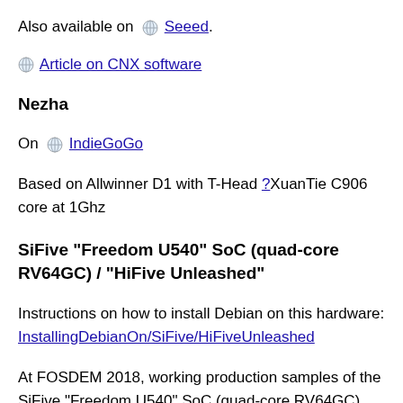Also available on  Seeed.
Article on CNX software
Nezha
On  IndieGoGo
Based on Allwinner D1 with T-Head ?XuanTie C906 core at 1Ghz
SiFive "Freedom U540" SoC (quad-core RV64GC) / "HiFive Unleashed"
Instructions on how to install Debian on this hardware: InstallingDebianOn/SiFive/HiFiveUnleashed
At FOSDEM 2018, working production samples of the SiFive "Freedom U540" SoC (quad-core RV64GC)